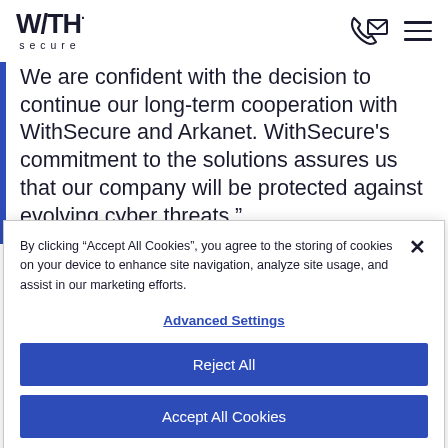WITH secure
We are confident with the decision to continue our long-term cooperation with WithSecure and Arkanet. WithSecure’s commitment to the solutions assures us that our company will be protected against evolving cyber threats.”
By clicking “Accept All Cookies”, you agree to the storing of cookies on your device to enhance site navigation, analyze site usage, and assist in our marketing efforts.
Advanced Settings
Reject All
Accept All Cookies